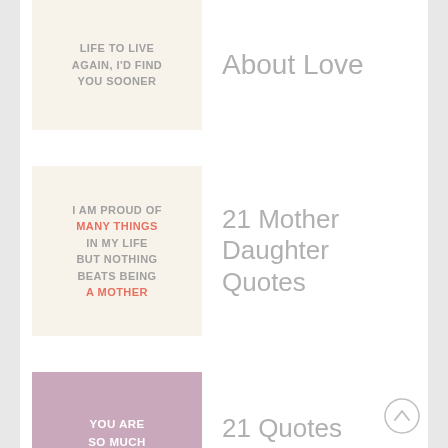[Figure (illustration): Cream background quote box with gray uppercase text: LIFE TO LIVE AGAIN, I'D FIND YOU SOONER]
About Love
[Figure (illustration): Cream background quote box with gray and pink uppercase text: I AM PROUD OF MANY THINGS IN MY LIFE BUT NOTHING BEATS BEING A MOTHER]
21 Mother Daughter Quotes
[Figure (illustration): Mauve/dusty purple background quote box with white uppercase bold text: YOU ARE SO MUCH STRONGER THAN YOU THINK]
21 Quotes About Strength